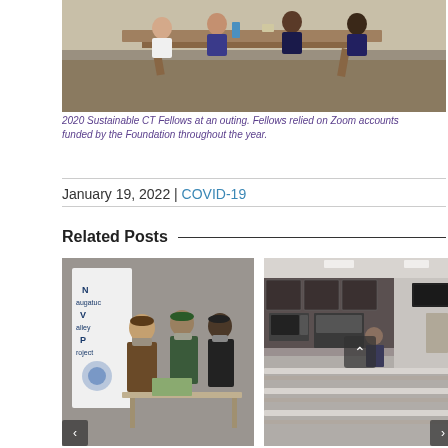[Figure (photo): Group of people sitting at a wooden picnic table outdoors, 2020 Sustainable CT Fellows at an outing]
2020 Sustainable CT Fellows at an outing. Fellows relied on Zoom accounts funded by the Foundation throughout the year.
January 19, 2022 | COVID-19
Related Posts
[Figure (photo): People wearing masks standing near a Naugatuck Valley Project banner display]
[Figure (photo): Interior kitchen/dining room with dark cabinets, appliances, long tables and bench seating]